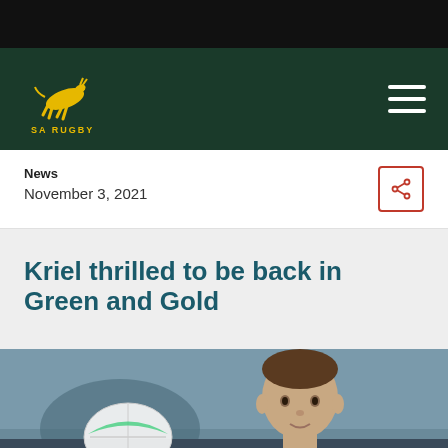[Figure (logo): SA Rugby springbok logo on dark green navigation bar]
News
November 3, 2021
Kriel thrilled to be back in Green and Gold
[Figure (photo): Rugby player Jesse Kriel looking upward with a rugby ball in the foreground, wearing a dark training kit]